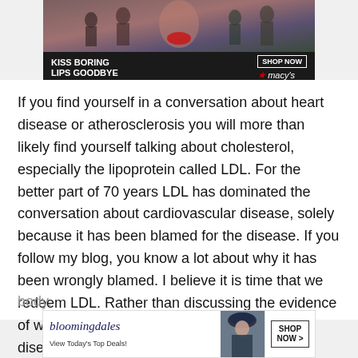[Figure (photo): Macy's advertisement banner showing a woman with red lips. Text reads 'KISS BORING LIPS GOODBYE' with 'SHOP NOW' button and Macy's star logo.]
If you find yourself in a conversation about heart disease or atherosclerosis you will more than likely find yourself talking about cholesterol, especially the lipoprotein called LDL. For the better part of 70 years LDL has dominated the conversation about cardiovascular disease, solely because it has been blamed for the disease. If you follow my blog, you know a lot about why it has been wrongly blamed. I believe it is time that we redeem LDL. Rather than discussing the evidence of why it isnt bad and is not the cause of heart disease, we will instead discuss how beneficial  the body.
[Figure (photo): Bloomingdale's advertisement. Text reads 'bloomingdales View Today's Top Deals!' with a woman in a hat and 'SHOP NOW >' button.]